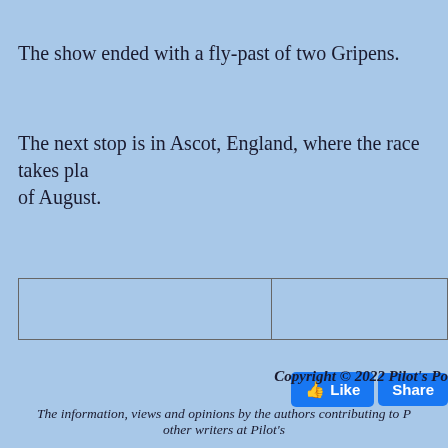The show ended with a fly-past of two Gripens.
The next stop is in Ascot, England, where the race takes pla... of August.
|  |  |
[Figure (screenshot): Facebook Like and Share buttons]
Copyright © 2022 Pilot's Po...
The information, views and opinions by the authors contributing to P... other writers at Pilot's...